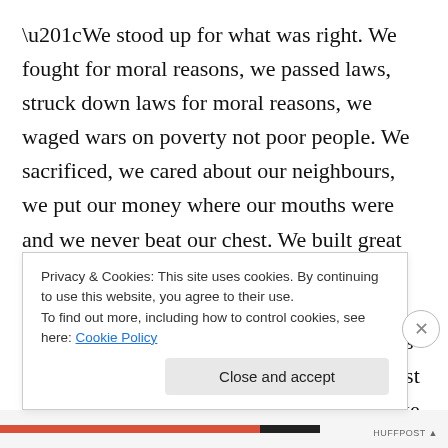“We stood up for what was right. We fought for moral reasons, we passed laws, struck down laws for moral reasons, we waged wars on poverty not poor people. We sacrificed, we cared about our neighbours, we put our money where our mouths were and we never beat our chest. We built great big things, made ungodly technological advances, explored the universe, cured diseases and we cultivated the world’s greatest artists and the world’s greatest economy. We reached for the stars, acted like men- we aspired to intelligence, we didn’t belittle it, didn’t...
Privacy & Cookies: This site uses cookies. By continuing to use this website, you agree to their use.
To find out more, including how to control cookies, see here: Cookie Policy
Close and accept